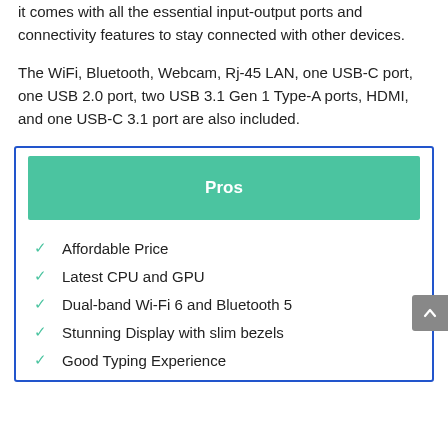it comes with all the essential input-output ports and connectivity features to stay connected with other devices.
The WiFi, Bluetooth, Webcam, Rj-45 LAN, one USB-C port, one USB 2.0 port, two USB 3.1 Gen 1 Type-A ports, HDMI, and one USB-C 3.1 port are also included.
Pros
Affordable Price
Latest CPU and GPU
Dual-band Wi-Fi 6 and Bluetooth 5
Stunning Display with slim bezels
Good Typing Experience